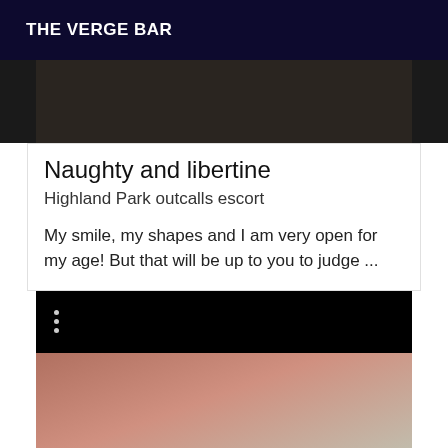THE VERGE BAR
[Figure (photo): Dark photograph, partially visible, cropped at top]
Naughty and libertine
Highland Park outcalls escort
My smile, my shapes and I am very open for my age! But that will be up to you to judge ...
[Figure (photo): Second listing card with black bar showing three dots menu icon and a partial photograph below]